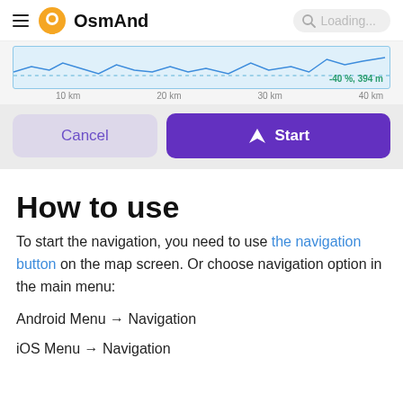OsmAnd — Loading...
[Figure (continuous-plot): Elevation/route profile chart showing a line graph with x-axis labels 10 km, 20 km, 30 km, 40 km and annotation '-40 %, 394 m']
[Figure (screenshot): Cancel and Start navigation buttons: Cancel button (light purple) and Start button (dark purple with navigation arrow icon)]
How to use
To start the navigation, you need to use the navigation button on the map screen. Or choose navigation option in the main menu:
Android Menu → Navigation
iOS Menu → Navigation